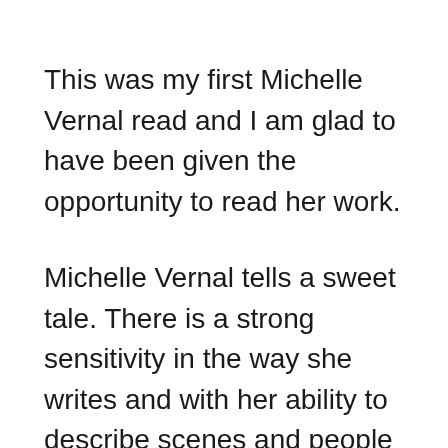This was my first Michelle Vernal read and I am glad to have been given the opportunity to read her work.
Michelle Vernal tells a sweet tale. There is a strong sensitivity in the way she writes and with her ability to describe scenes and people we can envisage all aspects of Ellie's life throughout the book.